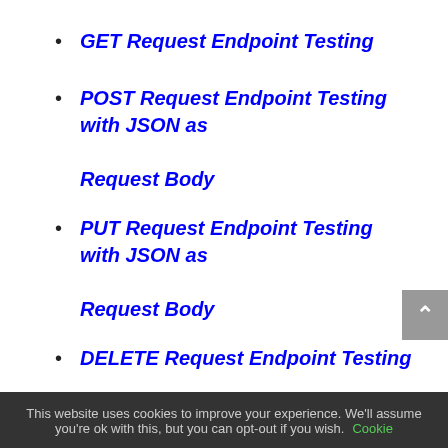GET Request Endpoint Testing
POST Request Endpoint Testing with JSON as Request Body
PUT Request Endpoint Testing with JSON as Request Body
DELETE Request Endpoint Testing
This website uses cookies to improve your experience. We'll assume you're ok with this, but you can opt-out if you wish. Cookie